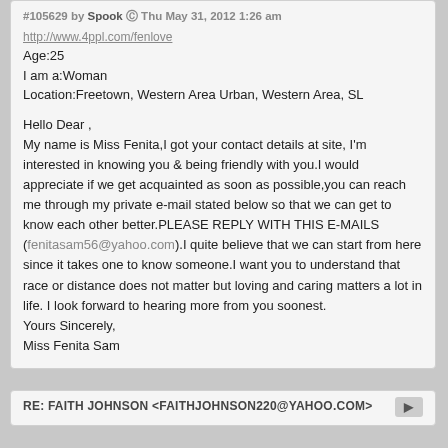#105629 by Spook Thu May 31, 2012 1:26 am
http://www.4ppl.com/fenlove
Age:25
I am a:Woman
Location:Freetown, Western Area Urban, Western Area, SL
Hello Dear ,
My name is Miss Fenita,I got your contact details at site, I'm interested in knowing you & being friendly with you.I would appreciate if we get acquainted as soon as possible,you can reach me through my private e-mail stated below so that we can get to know each other better.PLEASE REPLY WITH THIS E-MAILS (fenitasam56@yahoo.com).I quite believe that we can start from here since it takes one to know someone.I want you to understand that race or distance does not matter but loving and caring matters a lot in life. I look forward to hearing more from you soonest.
Yours Sincerely,
Miss Fenita Sam
RE: FAITH JOHNSON <FAITHJOHNSON220@YAHOO.COM>